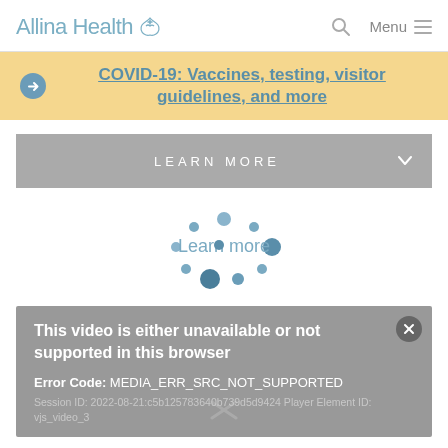Allina Health
COVID-19: Vaccines, testing, visitor guidelines, and more
LEARN MORE
[Figure (other): Loading spinner animation with blue dots orbiting text 'Learn more']
This video is either unavailable or not supported in this browser
Error Code: MEDIA_ERR_SRC_NOT_SUPPORTED
Session ID: 2022-08-21:c5b125783640b739d5d9424 Player Element ID: vjs_video_3